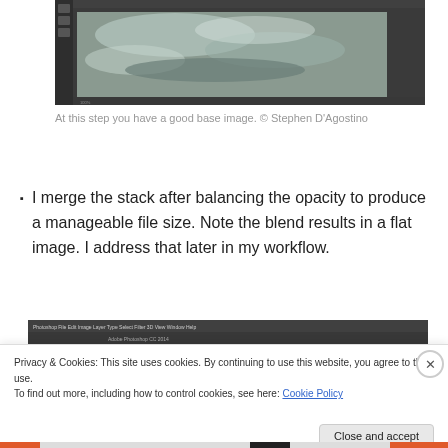[Figure (screenshot): Photoshop screenshot showing a wave/ocean image being edited, dark interface with image in center]
At this step you have a good base image. © Stephen D'Agostino
I merge the stack after balancing the opacity to produce a manageable file size. Note the blend results in a flat image. I address that later in my workflow.
[Figure (screenshot): Partial Photoshop CC 2014 interface screenshot showing menu bar and toolbar]
Privacy & Cookies: This site uses cookies. By continuing to use this website, you agree to their use.
To find out more, including how to control cookies, see here: Cookie Policy
Close and accept